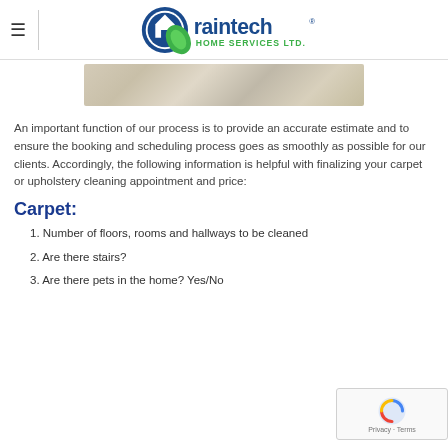raintech HOME SERVICES LTD.
[Figure (photo): Close-up photo of carpet texture, beige/cream colored]
An important function of our process is to provide an accurate estimate and to ensure the booking and scheduling process goes as smoothly as possible for our clients. Accordingly, the following information is helpful with finalizing your carpet or upholstery cleaning appointment and price:
Carpet:
1. Number of floors, rooms and hallways to be cleaned
2. Are there stairs?
3. Are there pets in the home? Yes/No